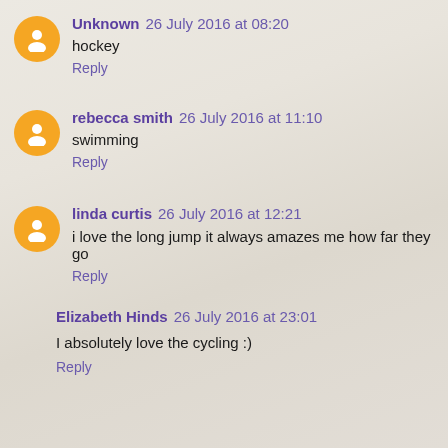Unknown 26 July 2016 at 08:20
hockey
Reply
rebecca smith 26 July 2016 at 11:10
swimming
Reply
linda curtis 26 July 2016 at 12:21
i love the long jump it always amazes me how far they go
Reply
Elizabeth Hinds 26 July 2016 at 23:01
I absolutely love the cycling :)
Reply